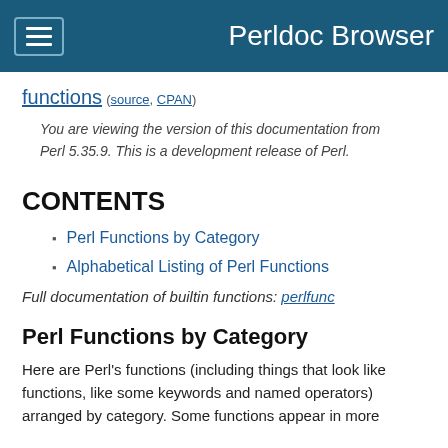Perldoc Browser
functions (source, CPAN)
You are viewing the version of this documentation from Perl 5.35.9. This is a development release of Perl.
CONTENTS
Perl Functions by Category
Alphabetical Listing of Perl Functions
Full documentation of builtin functions: perlfunc
Perl Functions by Category
Here are Perl's functions (including things that look like functions, like some keywords and named operators) arranged by category. Some functions appear in more